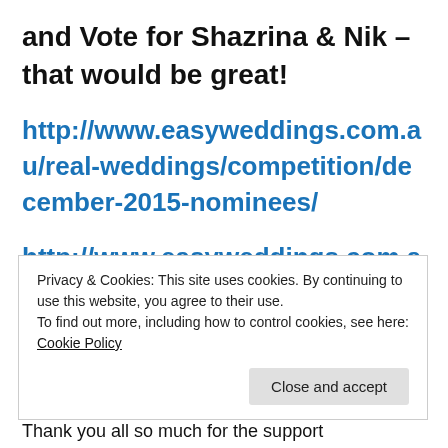and Vote for Shazrina & Nik – that would be great!
http://www.easyweddings.com.au/real-weddings/competition/december-2015-nominees/
http://www.easyweddings.com.au/real-
Privacy & Cookies: This site uses cookies. By continuing to use this website, you agree to their use.
To find out more, including how to control cookies, see here: Cookie Policy
Close and accept
Thank you all so much for the support